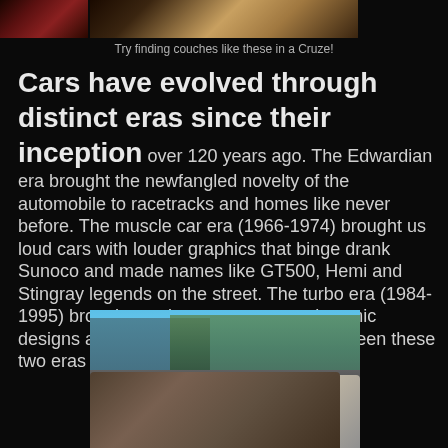[Figure (photo): Top portion of a vehicle interior photo showing tan/beige couch-like seats, partially visible at top of page]
Try finding couches like these in a Cruze!
Cars have evolved through distinct eras since their inception over 120 years ago. The Edwardian era brought the newfangled novelty of the automobile to racetracks and homes like never before. The muscle car era (1966-1974) brought us loud cars with louder graphics that binge drank Sunoco and made names like GT500, Hemi and Stingray legends on the street. The turbo era (1984-1995) brought us cleaner, more aerodynamic designs and livable fuel injection. But between these two eras is one that people oft look over.
[Figure (photo): Exterior photo of a classic brown/bronze car in a parking lot with trees and a modern building in the background under a blue sky, and a white vehicle partially visible to the right]